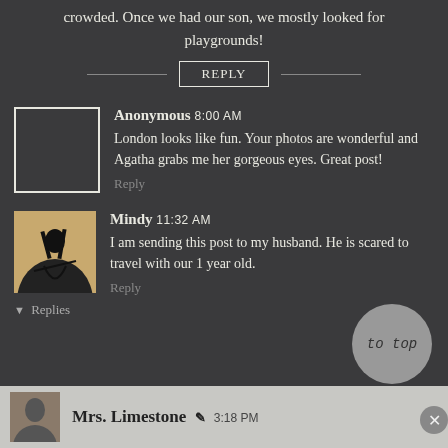crowded. Once we had our son, we mostly looked for playgrounds!
REPLY
Anonymous 8:00 AM
London looks like fun. Your photos are wonderful and Agatha grabs me her gorgeous eyes. Great post!
Reply
Mindy 11:32 AM
I am sending this post to my husband. He is scared to travel with our 1 year old.
Reply
▼ Replies
to top
Mrs. Limestone ✎ 3:18 PM